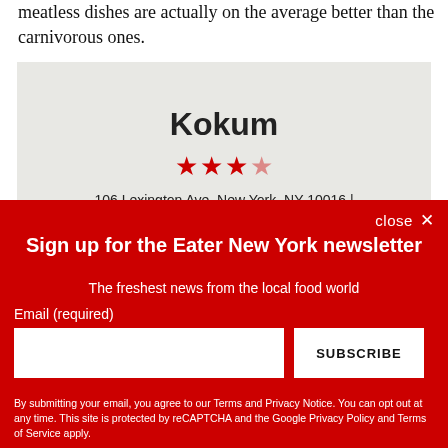meatless dishes are actually on the average better than the carnivorous ones.
[Figure (other): Map card for Kokum restaurant showing name, 3-star rating, and address: 106 Lexington Ave, New York, NY 10016]
close ×
Sign up for the Eater New York newsletter
The freshest news from the local food world
Email (required)
SUBSCRIBE
By submitting your email, you agree to our Terms and Privacy Notice. You can opt out at any time. This site is protected by reCAPTCHA and the Google Privacy Policy and Terms of Service apply.